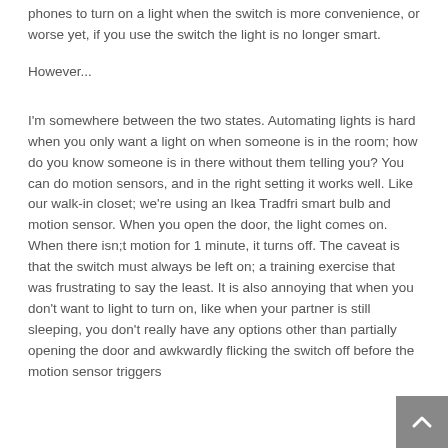phones to turn on a light when the switch is more convenience, or worse yet, if you use the switch the light is no longer smart.
However...
I'm somewhere between the two states. Automating lights is hard when you only want a light on when someone is in the room; how do you know someone is in there without them telling you? You can do motion sensors, and in the right setting it works well. Like our walk-in closet; we're using an Ikea Tradfri smart bulb and motion sensor. When you open the door, the light comes on. When there isn;t motion for 1 minute, it turns off. The caveat is that the switch must always be left on; a training exercise that was frustrating to say the least. It is also annoying that when you don't want to light to turn on, like when your partner is still sleeping, you don't really have any options other than partially opening the door and awkwardly flicking the switch off before the motion sensor triggers